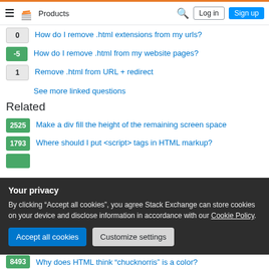≡  Stack Overflow  Products  🔍  Log in  Sign up
0  How do I remove .html extensions from my urls?
-5  How do I remove .html from my website pages?
1  Remove .html from URL + redirect
See more linked questions
Related
2525  Make a div fill the height of the remaining screen space
1793  Where should I put <script> tags in HTML markup?
Your privacy
By clicking "Accept all cookies", you agree Stack Exchange can store cookies on your device and disclose information in accordance with our Cookie Policy.
Accept all cookies   Customize settings
8493  Why does HTML think “chucknorris” is a color?